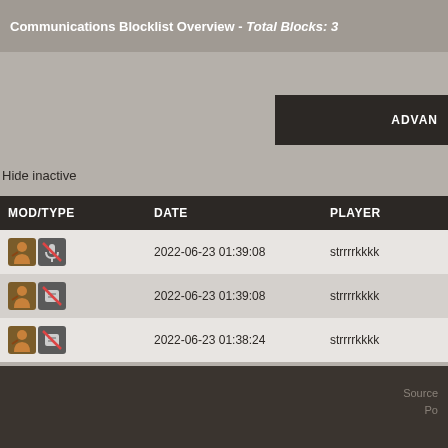Communications Blocklist Overview - Total Blocks: 3
ADVAN
Hide inactive
| MOD/TYPE | DATE | PLAYER |
| --- | --- | --- |
| [icons] | 2022-06-23 01:39:08 | strrrrkkkk |
| [icons] | 2022-06-23 01:39:08 | strrrrkkkk |
| [icons] | 2022-06-23 01:38:24 | strrrrkkkk |
Source
Po